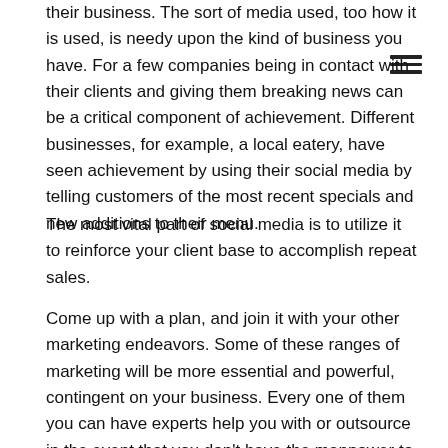their business. The sort of media used, too how it is used, is needy upon the kind of business you have. For a few companies being in contact with their clients and giving them breaking news can be a critical component of achievement. Different businesses, for example, a local eatery, have seen achievement by using their social media by telling customers of the most recent specials and new additions to their menu.
The most vital part of social media is to utilize it to reinforce your client base to accomplish repeat sales.
Come up with a plan, and join it with your other marketing endeavors. Some of these ranges of marketing will be more essential and powerful, contingent on your business. Every one of them you can have experts help you with or outsource in the event that you don't have the manpower to deal with it. Internet marketing systems that are regularly outsourced incorporate social media, search engine, on the grounds that